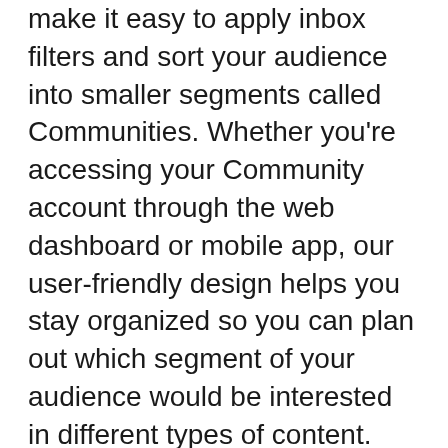make it easy to apply inbox filters and sort your audience into smaller segments called Communities. Whether you're accessing your Community account through the web dashboard or mobile app, our user-friendly design helps you stay organized so you can plan out which segment of your audience would be interested in different types of content.
At Community, we understand your customers are human, and they each have their personal preferences, needs, and desires. We've used that knowledge as the foundation of our platform's design by incorporating the functionality of a CRM system with features that enable you to treat your members as